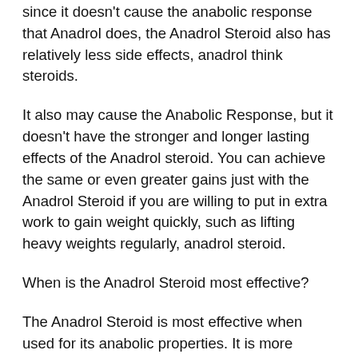since it doesn't cause the anabolic response that Anadrol does, the Anadrol Steroid also has relatively less side effects, anadrol think steroids.
It also may cause the Anabolic Response, but it doesn't have the stronger and longer lasting effects of the Anadrol steroid. You can achieve the same or even greater gains just with the Anadrol Steroid if you are willing to put in extra work to gain weight quickly, such as lifting heavy weights regularly, anadrol steroid.
When is the Anadrol Steroid most effective?
The Anadrol Steroid is most effective when used for its anabolic properties. It is more effective and less expensive to use when the Anabolic Effects take place, and that will happen when the body has